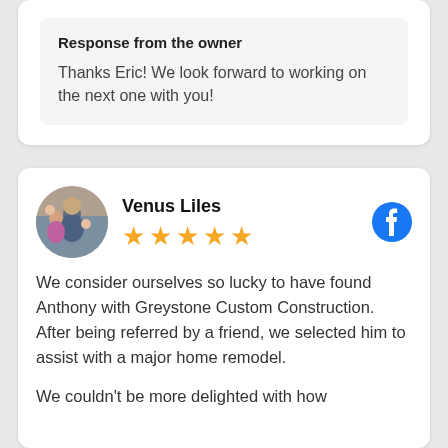Response from the owner
Thanks Eric! We look forward to working on the next one with you!
Venus Liles
[Figure (illustration): Circular avatar photo of a family group (man, woman, and children)]
[Figure (logo): Facebook circular logo icon in blue]
We consider ourselves so lucky to have found Anthony with Greystone Custom Construction. After being referred by a friend, we selected him to assist with a major home remodel.
We couldn't be more delighted with how